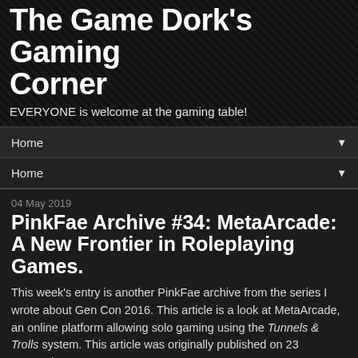The Game Dork's Gaming Corner
EVERYONE is welcome at the gaming table!
Home ▼
Home ▼
04 May 2019
PinkFae Archive #34: MetaArcade: A New Frontier in Roleplaying Games.
This week's entry is another PinkFae archive from the series I wrote about Gen Con 2016. This article is a look at MetaArcade, an online platform allowing solo gaming using the Tunnels & Trolls system. This article was originally published on 23 September, 2016.
[Figure (logo): MetaArcade logo with blue and red stylized text on white background]